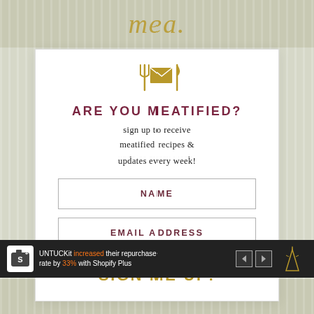[Figure (screenshot): Email signup modal popup for 'meatified' food blog with icon, title, body text, name/email input fields, and sign me up button]
ARE YOU MEATIFIED?
sign up to receive meatified recipes & updates every week!
NAME
EMAIL ADDRESS
SIGN ME UP!
[Figure (screenshot): Advertisement bar: UNTUCKit increased their repurchase rate by 33% with Shopify Plus]